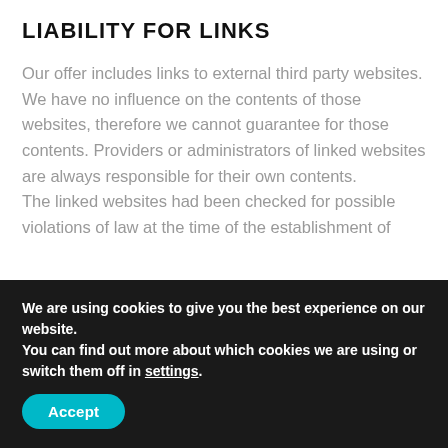LIABILITY FOR LINKS
Our offer includes links to external third party websites. We have no influence on the contents of those websites, therefore we cannot guarantee for those contents. Providers or administrators of linked websites are always responsible for their own contents.
The linked websites had been checked for possible violations of law at the time of the establishment of
We are using cookies to give you the best experience on our website.
You can find out more about which cookies we are using or switch them off in settings.
Accept